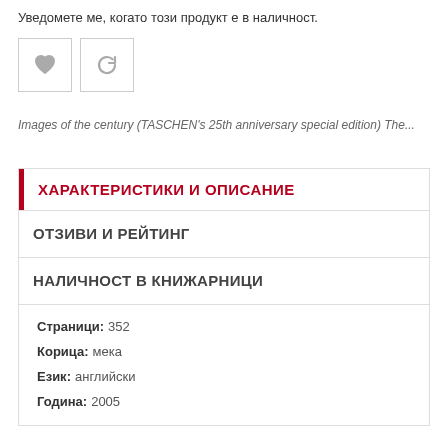Уведомете ме, когато този продукт е в наличност.
[Figure (other): Two icon buttons: a heart (wishlist) and a refresh/sync icon]
Images of the century (TASCHEN's 25th anniversary special edition) The...
ХАРАКТЕРИСТИКИ И ОПИСАНИЕ
ОТЗИВИ И РЕЙТИНГ
НАЛИЧНОСТ В КНИЖАРНИЦИ
Страници: 352
Корица: мека
Език: английски
Година: 2005